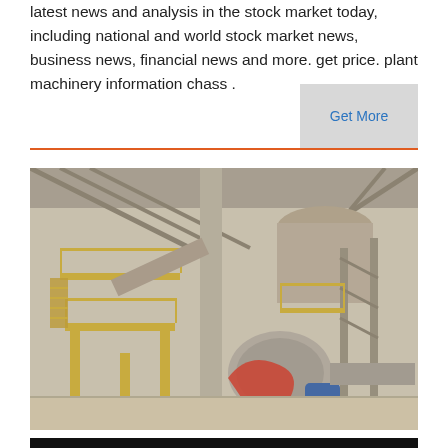latest news and analysis in the stock market today, including national and world stock market news, business news, financial news and more. get price. plant machinery information chass .
Get More
[Figure (photo): Industrial plant interior showing heavy machinery including elevated platforms with yellow railings, conveyor systems, large cylindrical silos, and a centrifugal fan/blower unit with red and blue pipes in a dusty warehouse environment.]